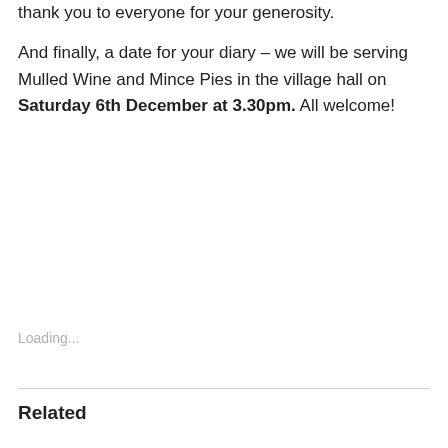thank you to everyone for your generosity.
And finally, a date for your diary – we will be serving Mulled Wine and Mince Pies in the village hall on Saturday 6th December at 3.30pm. All welcome!
Loading...
Related